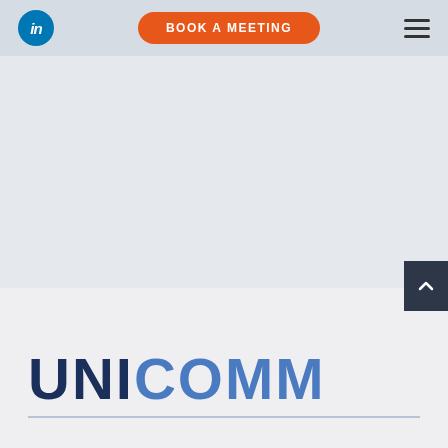Navigation bar with LinkedIn icon, BOOK A MEETING button, and hamburger menu
[Figure (logo): UNICOMM company logo with UNI in dark navy and COMM in medium blue, large bold lettering at bottom of page]
[Figure (other): Scroll-to-top button (dark slate background with upward chevron arrow) on right side]